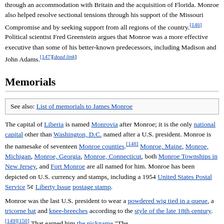through an accommodation with Britain and the acquisition of Florida. Monroe also helped resolve sectional tensions through his support of the Missouri Compromise and by seeking support from all regions of the country.[146] Political scientist Fred Greenstein argues that Monroe was a more effective executive than some of his better-known predecessors, including Madison and John Adams.[147][dead link]
Memorials
See also: List of memorials to James Monroe
The capital of Liberia is named Monrovia after Monroe; it is the only national capital other than Washington, D.C. named after a U.S. president. Monroe is the namesake of seventeen Monroe counties.[148] Monroe, Maine, Monroe, Michigan, Monroe, Georgia, Monroe, Connecticut, both Monroe Townships in New Jersey, and Fort Monroe are all named for him. Monroe has been depicted on U.S. currency and stamps, including a 1954 United States Postal Service 5¢ Liberty Issue postage stamp.
Monroe was the last U.S. president to wear a powdered wig tied in a queue, a tricorne hat and knee-breeches according to the style of the late 18th century.[149][150] That earned him the nickname "The